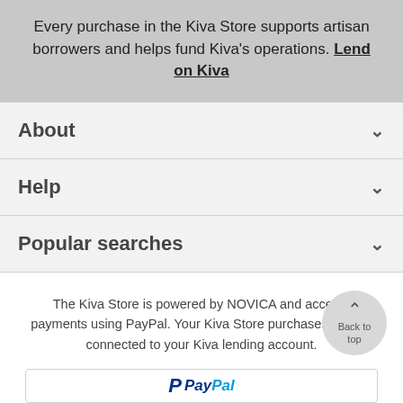Every purchase in the Kiva Store supports artisan borrowers and helps fund Kiva's operations. Lend on Kiva
About
Help
Popular searches
The Kiva Store is powered by NOVICA and accepts payments using PayPal. Your Kiva Store purchases are not connected to your Kiva lending account.
Back to top
[Figure (logo): PayPal logo]